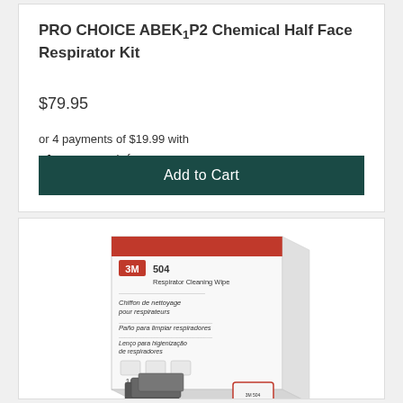PRO CHOICE ABEK1P2 Chemical Half Face Respirator Kit
$79.95
or 4 payments of $19.99 with afterpay Info
Add to Cart
[Figure (photo): 3M 504 Respirator Cleaning Wipes box, white with red stripe at top, multilingual text on front including English, French, Portuguese, Spanish. Box shows icons at bottom and individual wipe packets in front.]